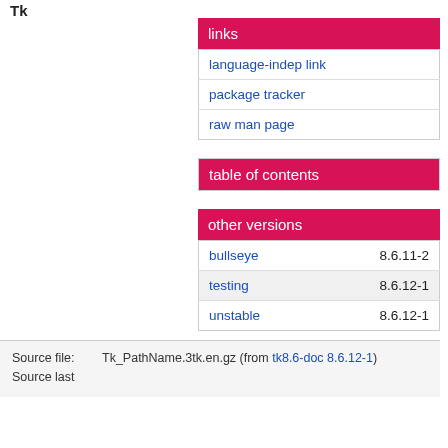Tk
links
| language-indep link |
| package tracker |
| raw man page |
table of contents
other versions
| bullseye | 8.6.11-2 |
| testing | 8.6.12-1 |
| unstable | 8.6.12-1 |
Source file: Tk_PathName.3tk.en.gz (from tk8.6-doc 8.6.12-1)
Source last